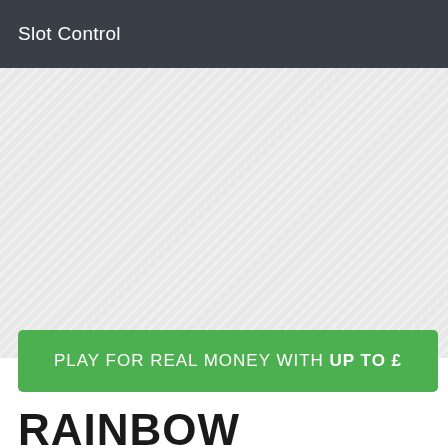Slot Control
[Figure (other): Light grey diagonal striped background area, placeholder for slot game image]
PLAY FOR REAL MONEY WITH UP TO £
RAINBOW